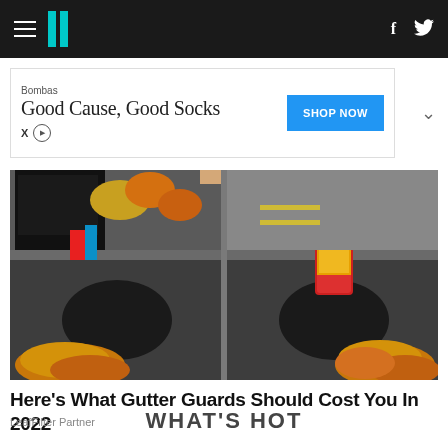HuffPost navigation bar with hamburger menu, logo, Facebook and Twitter icons
[Figure (screenshot): Advertisement banner: Bombas - Good Cause, Good Socks - SHOP NOW button]
[Figure (photo): Two side-by-side photos of gutters: left shows a brush cleaning autumn leaves from a gutter drain, right shows a soda can blocking a gutter drain with autumn leaves]
Here’s What Gutter Guards Should Cost You In 2022
LeafFilter Partner
WHAT’S HOT